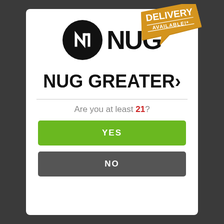[Figure (logo): NUG cannabis brand logo: black circle with white stylized N letterform, next to bold black NUG wordmark. A gold/orange speech bubble badge reading DELIVERY AVAILABLE!* overlaps the upper right of the logo area.]
NUG GREATER›
Are you at least 21?
YES
NO